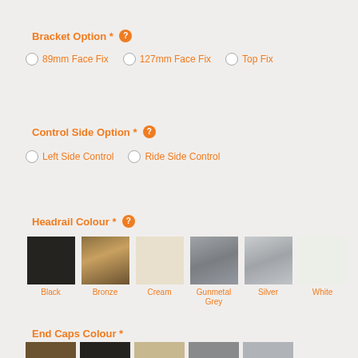Bracket Option *
89mm Face Fix
127mm Face Fix
Top Fix
Control Side Option *
Left Side Control
Ride Side Control
Headrail Colour *
[Figure (infographic): Six color swatches for headrail colour options: Black, Bronze, Cream, Gunmetal Grey, Silver, White]
End Caps Colour *
[Figure (infographic): Partial row of end cap colour thumbnail images]